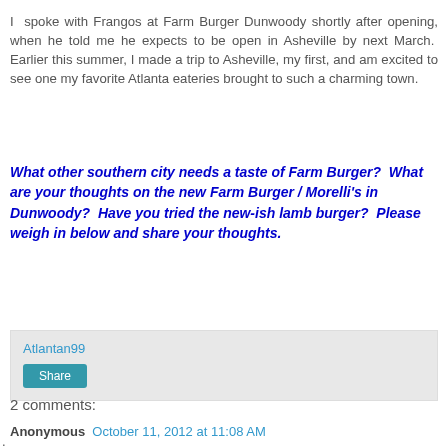I spoke with Frangos at Farm Burger Dunwoody shortly after opening, when he told me he expects to be open in Asheville by next March.  Earlier this summer, I made a trip to Asheville, my first, and am excited to see one my favorite Atlanta eateries brought to such a charming town.
What other southern city needs a taste of Farm Burger?  What are your thoughts on the new Farm Burger / Morelli's in Dunwoody?  Have you tried the new-ish lamb burger?  Please weigh in below and share your thoughts.
Atlantan99
Share
2 comments:
Anonymous  October 11, 2012 at 11:08 AM